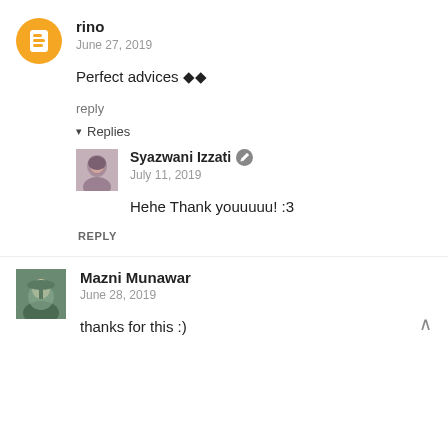rino
June 27, 2019
Perfect advices 🔶🔶
reply
▾ Replies
Syazwani Izzati
July 11, 2019
Hehe Thank youuuuu! :3
REPLY
Mazni Munawar
June 28, 2019
thanks for this :)